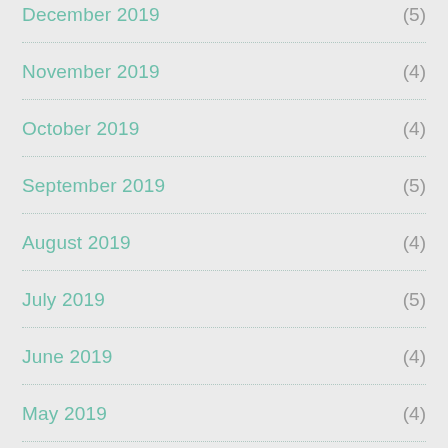December 2019 (5)
November 2019 (4)
October 2019 (4)
September 2019 (5)
August 2019 (4)
July 2019 (5)
June 2019 (4)
May 2019 (4)
April 2019 (5)
March 2019 (4)